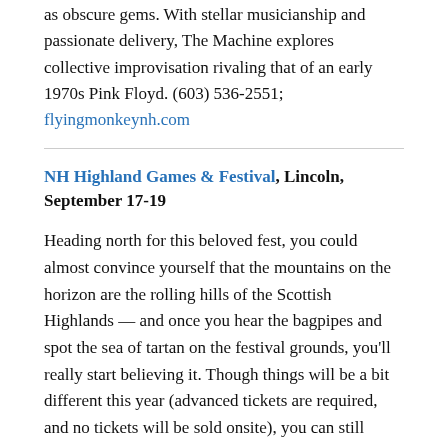as obscure gems. With stellar musicianship and passionate delivery, The Machine explores collective improvisation rivaling that of an early 1970s Pink Floyd. (603) 536-2551; flyingmonkeynh.com
NH Highland Games & Festival, Lincoln, September 17-19
Heading north for this beloved fest, you could almost convince yourself that the mountains on the horizon are the rolling hills of the Scottish Highlands — and once you hear the bagpipes and spot the sea of tartan on the festival grounds, you'll really start believing it. Though things will be a bit different this year (advanced tickets are required, and no tickets will be sold onsite), you can still expect to enjoy athletic feats of strength and endurance, Celtic music, sheep dog trials and more.  (603) 229-1975; nhscot.org